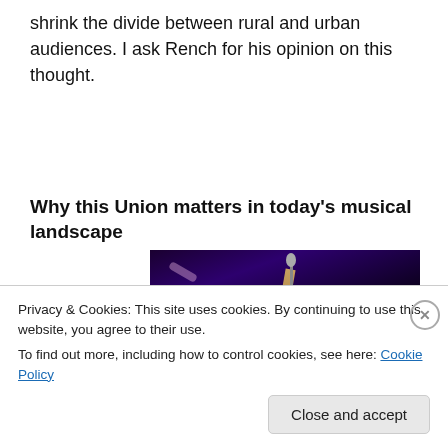shrink the divide between rural and urban audiences. I ask Rench for his opinion on this thought.
Why this Union matters in today's musical landscape
[Figure (photo): Concert photograph showing musicians performing on a dark stage with purple and blue stage lighting, a guitar player and microphone stand visible]
Privacy & Cookies: This site uses cookies. By continuing to use this website, you agree to their use.
To find out more, including how to control cookies, see here: Cookie Policy
Close and accept